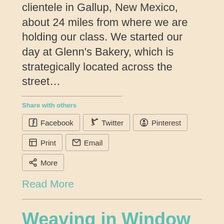clientele in Gallup, New Mexico, about 24 miles from where we are holding our class. We started our day at Glenn’s Bakery, which is strategically located across the street…
Share with others
Facebook  Twitter  Pinterest  Print  Email  More
Read More
Weaving in Window Rock, Day 5
August 21, 2008